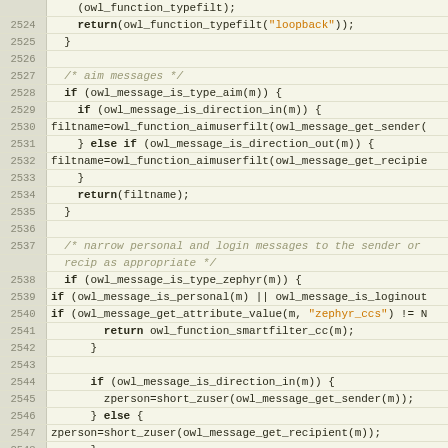[Figure (screenshot): Source code listing showing C code lines 2524-2550 for an owl messaging filter function. The code handles AIM messages, zephyr messages, and personal/login messages with direction filtering.]